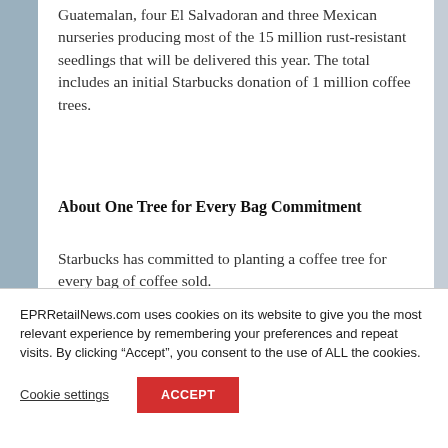Guatemalan, four El Salvadoran and three Mexican nurseries producing most of the 15 million rust-resistant seedlings that will be delivered this year. The total includes an initial Starbucks donation of 1 million coffee trees.
About One Tree for Every Bag Commitment
Starbucks has committed to planting a coffee tree for every bag of coffee sold.
EPRRetailNews.com uses cookies on its website to give you the most relevant experience by remembering your preferences and repeat visits. By clicking “Accept”, you consent to the use of ALL the cookies.